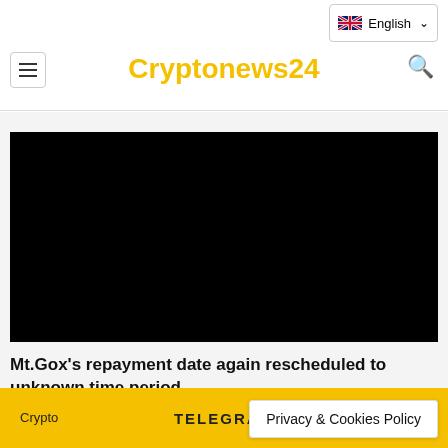Cryptonews24
[Figure (screenshot): Black video player area embedded in page]
Mt.Gox's repayment date again rescheduled to unknown time period
TELEGRAM
Privacy & Cookies Policy